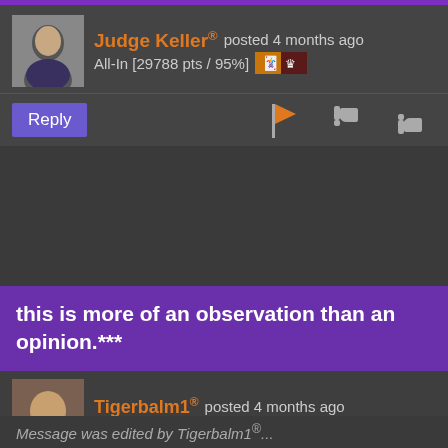Judge Keller® posted 4 months ago
All-In [29788 pts / 95%]
Reply
this is more of an observation than an opinion.***
Tigerbalm1® posted 4 months ago
Oculus Spirit [92137 pts / 100%]
but ok
Message edited by Tigerbalm1®...